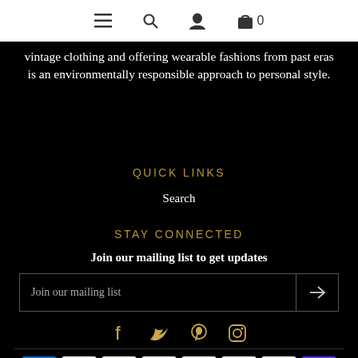Navigation bar with menu, search, account, and cart (0) icons
vintage clothing and offering wearable fashions from past eras is an environmentally responsible approach to personal style.
QUICK LINKS
Search
STAY CONNECTED
Join our mailing list to get updates
Join our mailing list [email input with send button]
[Figure (infographic): Social media icons: Facebook, Twitter, Pinterest, Instagram in gold/tan color]
[Figure (infographic): Payment method icons at bottom: American Express, Apple Pay, Diners Club, Discover, Meta Pay, Mastercard, PayPal, Shop Pay]